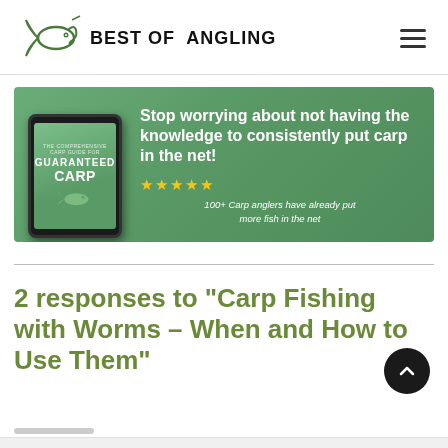[Figure (logo): Best of Angling logo with fish graphic and bold uppercase text]
[Figure (infographic): Guaranteed Carp book/tablet advertisement banner with green background. Left side shows a tablet with 'GUARANTEED CARP' text and fish image. Right side has white bold text: 'Stop worrying about not having the knowledge to consistently put carp in the net!' followed by 5 gold stars and italic text '100+ Carp anglers have already put more fish in the net']
2 responses to “Carp Fishing with Worms – When and How to Use Them”